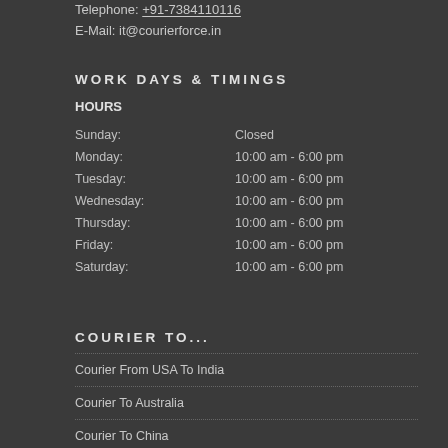Telephone: +91-7384110116
E-Mail: it@courierforce.in
WORK DAYS & TIMINGS
HOURS
| Day | Hours |
| --- | --- |
| Sunday: | Closed |
| Monday: | 10:00 am - 6:00 pm |
| Tuesday: | 10:00 am - 6:00 pm |
| Wednesday: | 10:00 am - 6:00 pm |
| Thursday: | 10:00 am - 6:00 pm |
| Friday: | 10:00 am - 6:00 pm |
| Saturday: | 10:00 am - 6:00 pm |
COURIER TO...
Courier From USA To India
Courier To Australia
Courier To China
Courier To France